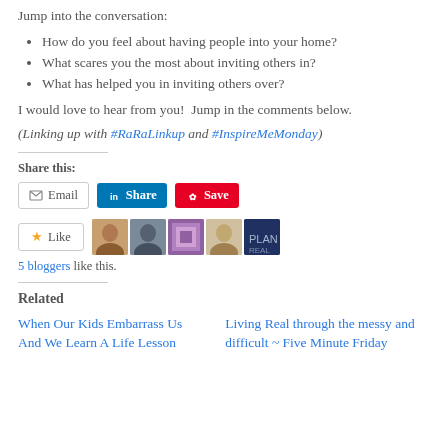Jump into the conversation:
How do you feel about having people into your home?
What scares you the most about inviting others in?
What has helped you in inviting others over?
I would love to hear from you!  Jump in the comments below.
(Linking up with #RaRaLinkup and #InspireMeMonday)
Share this:
[Figure (screenshot): Social share buttons: Email, LinkedIn Share, Pinterest Save]
[Figure (screenshot): Like button with 5 blogger avatars]
5 bloggers like this.
Related
When Our Kids Embarrass Us And We Learn A Life Lesson
Living Real through the messy and difficult ~ Five Minute Friday